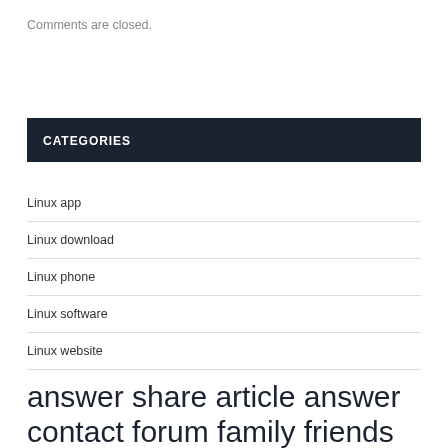Comments are closed.
CATEGORIES
Linux app
Linux download
Linux phone
Linux software
Linux website
answer share article answer contact forum family friends